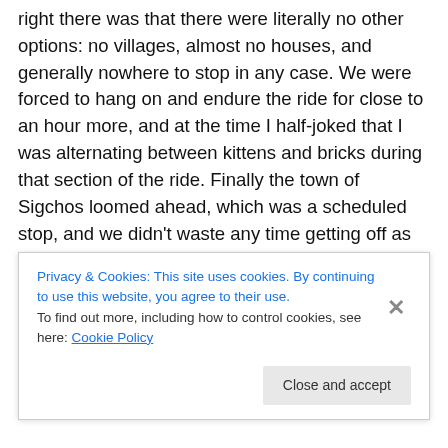right there was that there were literally no other options: no villages, almost no houses, and generally nowhere to stop in any case. We were forced to hang on and endure the ride for close to an hour more, and at the time I half-joked that I was alternating between kittens and bricks during that section of the ride. Finally the town of Sigchos loomed ahead, which was a scheduled stop, and we didn't waste any time getting off as soon as it halted. We had paid all the way through to Chugchilan but we didn't care: there was no way we were going to spend a second
Privacy & Cookies: This site uses cookies. By continuing to use this website, you agree to their use.
To find out more, including how to control cookies, see here: Cookie Policy
Close and accept